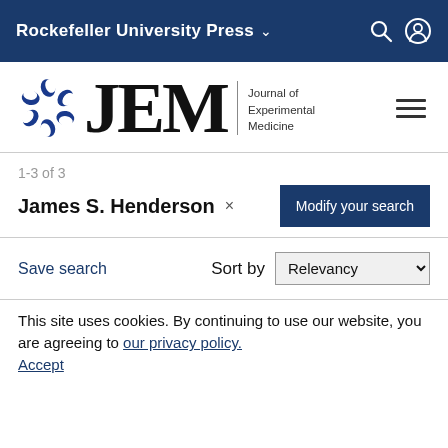Rockefeller University Press
[Figure (logo): JEM - Journal of Experimental Medicine logo with blue circular emblem and serif JEM lettering]
1-3 of 3
James S. Henderson ×
Modify your search
Save search
Sort by Relevancy
JOURNAL ARTICLES
ADJUVATORS TO THE PROPAGATION OF MOUSE MAMMARY TUMOR CELLS ON EXPANSES OF SUBCUTANEOUS TISSUE
This site uses cookies. By continuing to use our website, you are agreeing to our privacy policy. Accept